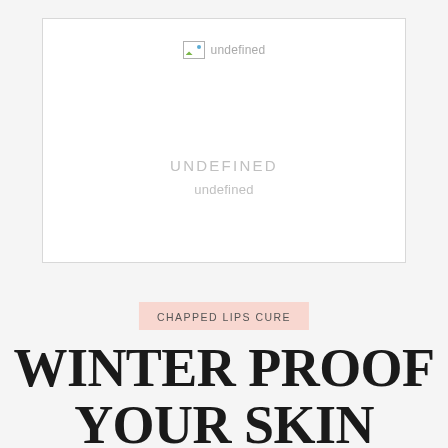[Figure (other): A broken/undefined image placeholder card with a small broken image icon and the text 'undefined' beside it, followed by 'UNDEFINED' in uppercase spaced letters and 'undefined' in lowercase, shown inside a white bordered box.]
CHAPPED LIPS CURE
WINTER PROOF YOUR SKIN